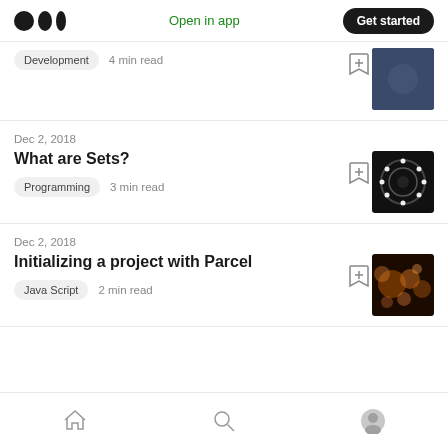Medium logo | Open in app | Get started
Development  4 min read
Dec 2, 2018
What are Sets?
Programming  3 min read
Dec 2, 2018
Initializing a project with Parcel
Java Script  2 min read
Home | Search | Profile